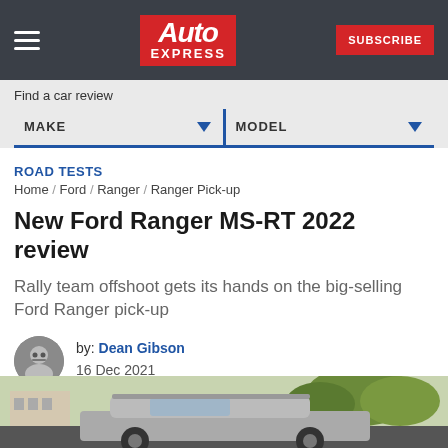Auto Express
Find a car review
MAKE   MODEL
ROAD TESTS
Home / Ford / Ranger / Ranger Pick-up
New Ford Ranger MS-RT 2022 review
Rally team offshoot gets its hands on the big-selling Ford Ranger pick-up
by: Dean Gibson
16 Dec 2021
[Figure (photo): Bottom portion of a Ford Ranger MS-RT vehicle photographed outdoors with trees and buildings in background]